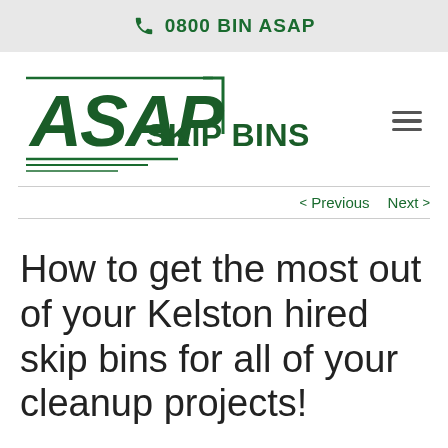0800 BIN ASAP
[Figure (logo): ASAP Skip Bins logo in dark green with speed lines]
< Previous   Next >
How to get the most out of your Kelston hired skip bins for all of your cleanup projects!